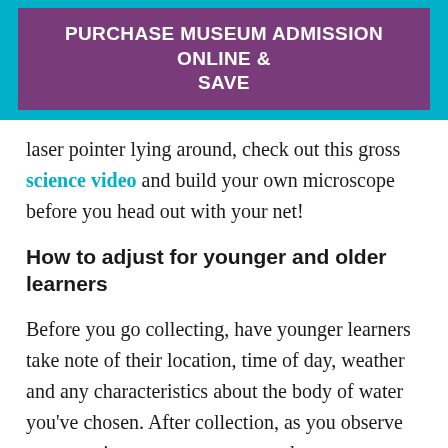PURCHASE MUSEUM ADMISSION ONLINE & SAVE
laser pointer lying around, check out this gross science video and build your own microscope before you head out with your net!
How to adjust for younger and older learners
Before you go collecting, have younger learners take note of their location, time of day, weather and any characteristics about the body of water you've chosen. After collection, as you observe your specimens, encourage your learners to try to find five different types of organism within their